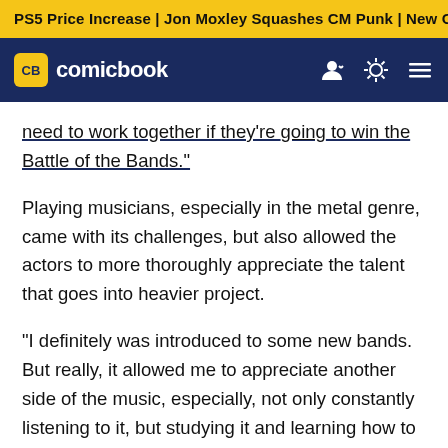PS5 Price Increase | Jon Moxley Squashes CM Punk | New G…
CB comicbook
need to work together if they're going to win the Battle of the Bands."
Playing musicians, especially in the metal genre, came with its challenges, but also allowed the actors to more thoroughly appreciate the talent that goes into heavier project.
"I definitely was introduced to some new bands. But really, it allowed me to appreciate another side of the music, especially, not only constantly listening to it, but studying it and learning how to play it is a whole other thing," Martell